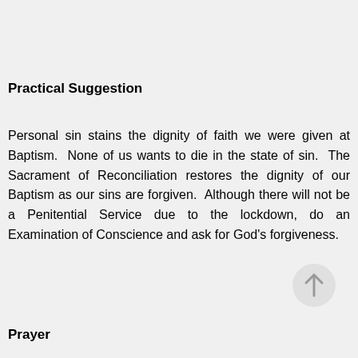Practical Suggestion
Personal sin stains the dignity of faith we were given at Baptism.  None of us wants to die in the state of sin.  The Sacrament of Reconciliation restores the dignity of our Baptism as our sins are forgiven.  Although there will not be a Penitential Service due to the lockdown, do an Examination of Conscience and ask for God’s forgiveness.
[Figure (illustration): A circular grey button with an upward-pointing arrow icon in the centre.]
Prayer